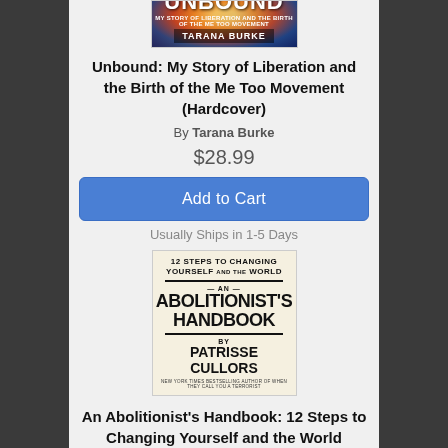[Figure (photo): Book cover of 'Unbound' by Tarana Burke — colorful illustration of a woman with vibrant colors, text UNBOUND and TARANA BURKE on cover]
Unbound: My Story of Liberation and the Birth of the Me Too Movement (Hardcover)
By Tarana Burke
$28.99
Add to Cart
Usually Ships in 1-5 Days
[Figure (photo): Book cover of 'An Abolitionist's Handbook: 12 Steps to Changing Yourself and the World' by Patrisse Cullors — black and white text-based cover design]
An Abolitionist's Handbook: 12 Steps to Changing Yourself and the World